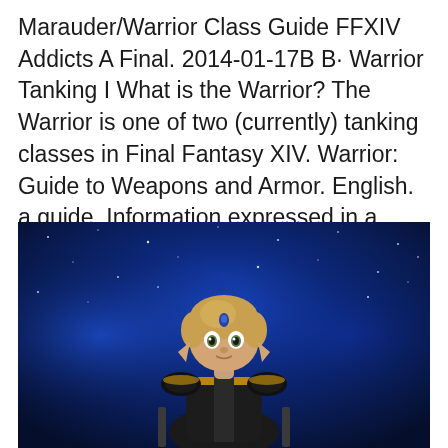Marauder/Warrior Class Guide FFXIV Addicts A Final. 2014-01-17B B· Warrior Tanking I What is the Warrior? The Warrior is one of two (currently) tanking classes in Final Fantasy XIV. Warrior: Guide to Weapons and Armor. English. a guide. Information expressed in a guide is usually more opinion than of what many a Warrior have seen and used.
[Figure (photo): Screenshot from Final Fantasy XIV showing a small Lalafell character in dark warrior armor with a blue starfield background]